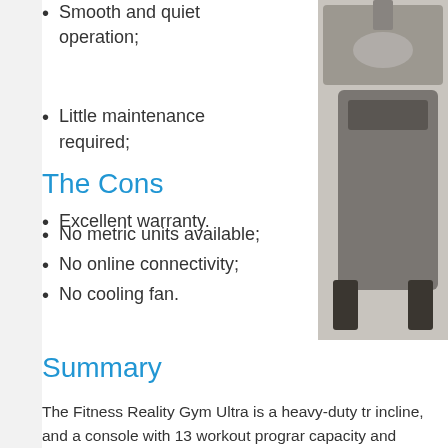Smooth and quiet operation;
Little maintenance required;
Excellent warranty.
The Cons
No metric units available;
No online connectivity;
No cooling fan.
Summary
The Fitness Reality Gym Ultra is a heavy-duty tr incline, and a console with 13 workout prograr capacity and provides a running surface of 60×